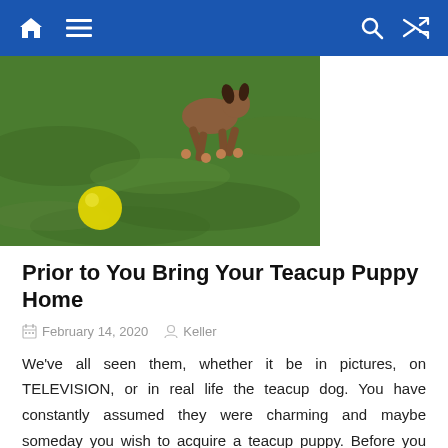Navigation bar with home, menu, search, and shuffle icons
[Figure (photo): A puppy running on grass chasing a yellow ball, partially cropped at top]
Prior to You Bring Your Teacup Puppy Home
February 14, 2020   Keller
We've all seen them, whether it be in pictures, on TELEVISION, or in real life the teacup dog. You have constantly assumed they were charming and maybe someday you wish to acquire a teacup puppy. Before you take into consideration acquiring any teacup dog type, you need to recognize that it takes a great deal of effort, time, commitment and clients to train a young puppy. Teacup dog breeds are a lot more vulnerable to being a "fraidy cat".